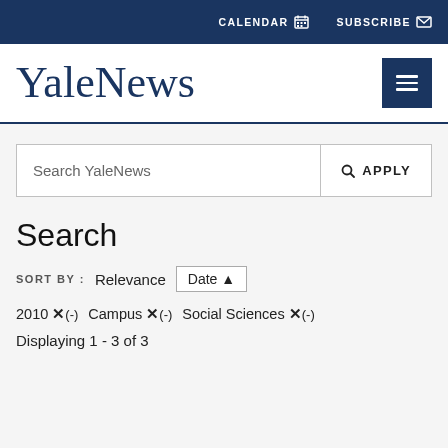CALENDAR  SUBSCRIBE
YaleNews
Search YaleNews  🔍 APPLY
Search
SORT BY :  Relevance  Date ▲
2010 ✕(-) Campus ✕(-) Social Sciences ✕(-)
Displaying 1 - 3 of 3